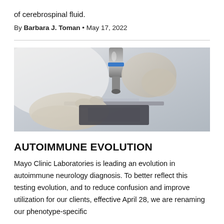of cerebrospinal fluid.
By Barbara J. Toman • May 17, 2022
[Figure (photo): Close-up photo of gloved hands operating a microscope or laboratory instrument, placing a slide under the objective lens.]
AUTOIMMUNE EVOLUTION
Mayo Clinic Laboratories is leading an evolution in autoimmune neurology diagnosis. To better reflect this testing evolution, and to reduce confusion and improve utilization for our clients, effective April 28, we are renaming our phenotype-specific